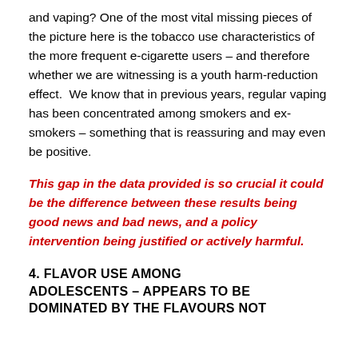and vaping? One of the most vital missing pieces of the picture here is the tobacco use characteristics of the more frequent e-cigarette users – and therefore whether we are witnessing is a youth harm-reduction effect.  We know that in previous years, regular vaping has been concentrated among smokers and ex-smokers – something that is reassuring and may even be positive.
This gap in the data provided is so crucial it could be the difference between these results being good news and bad news, and a policy intervention being justified or actively harmful.
4. FLAVOR USE AMONG ADOLESCENTS – APPEARS TO BE DOMINATED BY THE FLAVOURS NOT